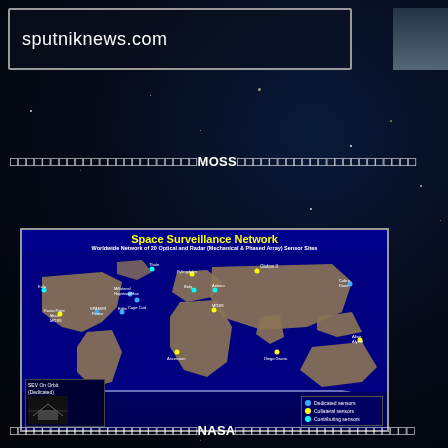sputniknews.com
□□□□□□□□□□□□□□□□□□□□□□□MOSS□□□□□□□□□□□□□□□□□□□□□□
[Figure (map): Space Surveillance Network world map showing worldwide network of 20 optical and radar (mechanical & phased array) sensor sites. Map shows locations including Kama Point, Maui, MOSS, SPANDR, Fence, Edlin, Millstone/Haystack/Hax, Cape Cod, MOSS, Globus II, Fylingdales, Cobra Dane, Ascension, Diego Garcia, Altair, Alyeut. Legend shows dedicated sensors (blue dot), collateral sensors (yellow dot), contributing sensors (cyan dot). SEV On Orbit (dedicated) shown in bottom left.]
□□□□□□□□□□□□□□□□□□□□□□□NASA□□□□□□□□□□□□□□□□□□□□□□